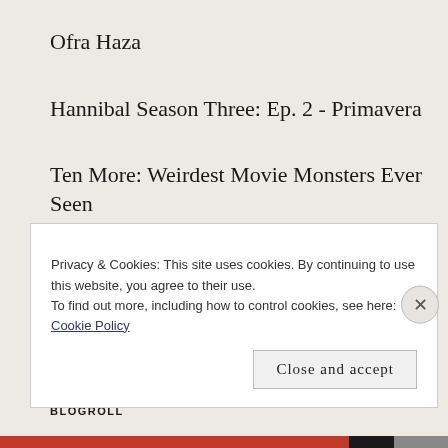Ofra Haza
Hannibal Season Three: Ep. 2 - Primavera
Ten More: Weirdest Movie Monsters Ever Seen
Ten Favorite Martial Arts Movies
BLOGROLL
Privacy & Cookies: This site uses cookies. By continuing to use this website, you agree to their use.
To find out more, including how to control cookies, see here: Cookie Policy
Close and accept